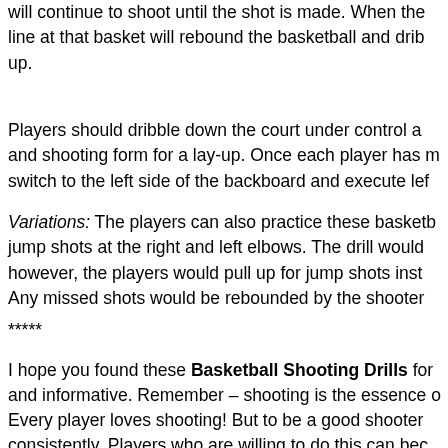will continue to shoot until the shot is made. When the line at that basket will rebound the basketball and drib up.
Players should dribble down the court under control a and shooting form for a lay-up. Once each player has m switch to the left side of the backboard and execute lef
Variations: The players can also practice these basketb jump shots at the right and left elbows. The drill would however, the players would pull up for jump shots inst Any missed shots would be rebounded by the shooter
*****
I hope you found these Basketball Shooting Drills for and informative. Remember – shooting is the essence o
Every player loves shooting! But to be a good shooter consistently. Players who are willing to do this can bec